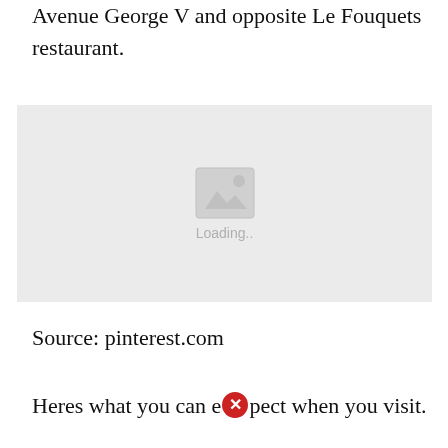Avenue George V and opposite Le Fouquets restaurant.
[Figure (photo): Image placeholder with loading indicator showing a grey rectangle with a mountain/image icon and 'Loading..' text]
Source: pinterest.com
Heres what you can expect when you visit.